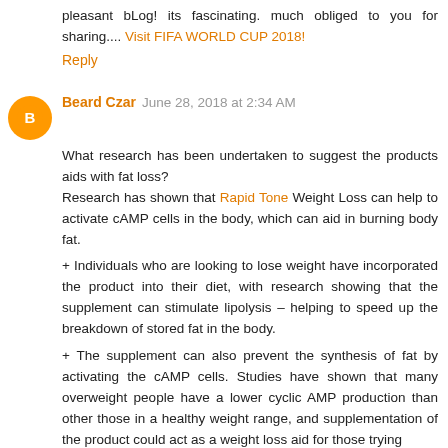pleasant bLog! its fascinating. much obliged to you for sharing.... Visit FIFA WORLD CUP 2018!
Reply
Beard Czar  June 28, 2018 at 2:34 AM
What research has been undertaken to suggest the products aids with fat loss? Research has shown that Rapid Tone Weight Loss can help to activate cAMP cells in the body, which can aid in burning body fat.
+ Individuals who are looking to lose weight have incorporated the product into their diet, with research showing that the supplement can stimulate lipolysis – helping to speed up the breakdown of stored fat in the body.
+ The supplement can also prevent the synthesis of fat by activating the cAMP cells. Studies have shown that many overweight people have a lower cyclic AMP production than other those in a healthy weight range, and supplementation of the product could act as a weight loss aid for those trying